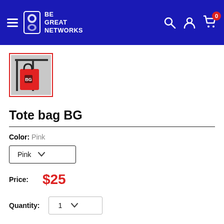BE GREAT NETWORKS
[Figure (photo): Thumbnail of a red tote bag with black handles hanging on a rack, with a red border/selected state around the thumbnail.]
Tote bag BG
Color: Pink
Pink (dropdown)
Price: $25
Quantity: 1